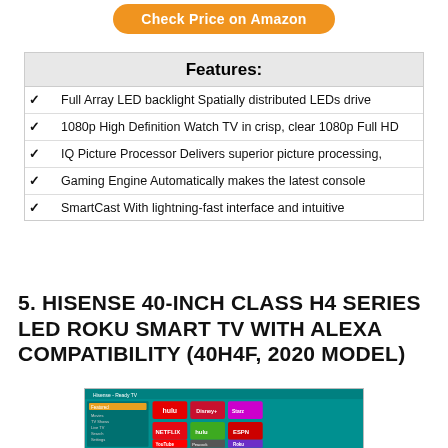[Figure (other): Orange rounded button labeled 'Check Price on Amazon']
| Features: |
| --- |
| ✓ | Full Array LED backlight Spatially distributed LEDs drive |
| ✓ | 1080p High Definition Watch TV in crisp, clear 1080p Full HD |
| ✓ | IQ Picture Processor Delivers superior picture processing, |
| ✓ | Gaming Engine Automatically makes the latest console |
| ✓ | SmartCast With lightning-fast interface and intuitive |
5. HISENSE 40-INCH CLASS H4 SERIES LED ROKU SMART TV WITH ALEXA COMPATIBILITY (40H4F, 2020 MODEL)
[Figure (screenshot): Screenshot of Hisense Roku Smart TV interface showing streaming apps including Netflix, Hulu, ESPN, YouTube, and Roku]